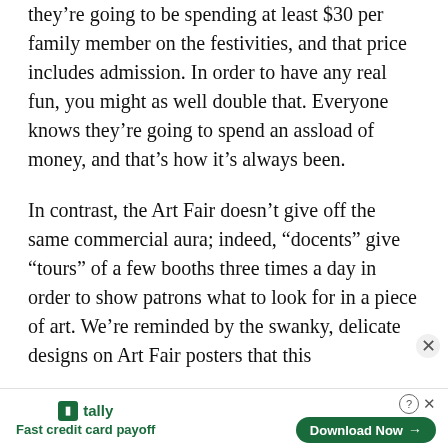they’re going to be spending at least $30 per family member on the festivities, and that price includes admission. In order to have any real fun, you might as well double that. Everyone knows they’re going to spend an assload of money, and that’s how it’s always been.
In contrast, the Art Fair doesn’t give off the same commercial aura; indeed, “docents” give “tours” of a few booths three times a day in order to show patrons what to look for in a piece of art. We’re reminded by the swanky, delicate designs on Art Fair posters that this
[Figure (other): Advertisement banner for Tally app - Fast credit card payoff with Download Now button]